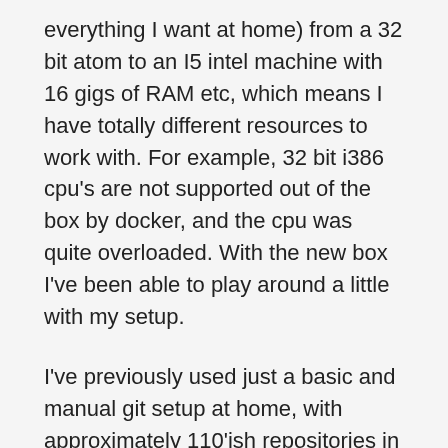everything I want at home) from a 32 bit atom to an I5 intel machine with 16 gigs of RAM etc, which means I have totally different resources to work with. For example, 32 bit i386 cpu's are not supported out of the box by docker, and the cpu was quite overloaded. With the new box I've been able to play around a little with my setup.
I've previously used just a basic and manual git setup at home, with approximately 110'ish repositories in it. I've been playing around with gitea and drone.io at home with the new server and am very pleased with it, even though it took a bit of work to get used to it. In all honesty, I've only done fairly basic work with it so far. The only really complex stuff I've done was to move my existing git repositories into the gitea environment by scripting a bit and using the gitea web based API.